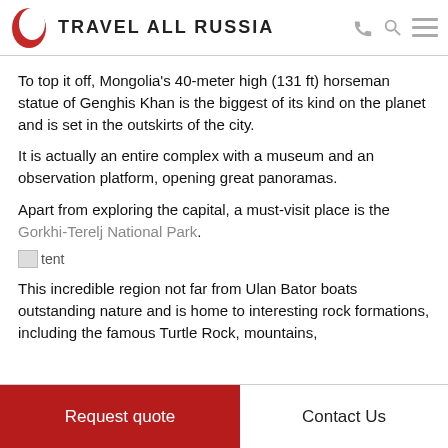TRAVEL ALL RUSSIA
To top it off, Mongolia's 40-meter high (131 ft) horseman statue of Genghis Khan is the biggest of its kind on the planet and is set in the outskirts of the city.
It is actually an entire complex with a museum and an observation platform, opening great panoramas.
Apart from exploring the capital, a must-visit place is the Gorkhi-Terelj National Park.
[Figure (photo): Broken image placeholder with label 'tent']
This incredible region not far from Ulan Bator boats outstanding nature and is home to interesting rock formations, including the famous Turtle Rock, mountains,
Request quote | Contact Us